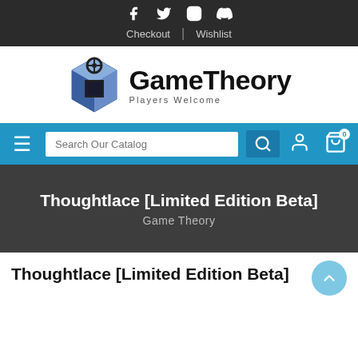Social icons: Facebook, Twitter, Instagram, Discord | Checkout | Wishlist
[Figure (logo): GameTheory logo with blue 3D cube icon and text 'GameTheory Players Welcome']
Search Our Catalog | navigation icons
Thoughtlace [Limited Edition Beta]
Game Theory
Thoughtlace [Limited Edition Beta]